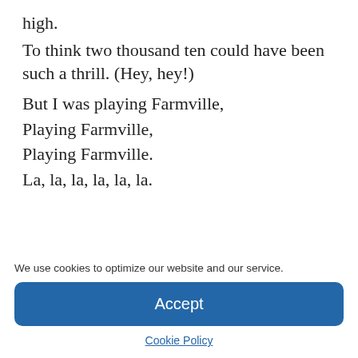high.
To think two thousand ten could have been such a thrill. (Hey, hey!)
But I was playing Farmville,
Playing Farmville,
Playing Farmville.
La, la, la, la, la, la.
[Figure (other): Five empty star rating icons followed by a teal info icon and partially visible text]
We use cookies to optimize our website and our service.
Accept
Cookie Policy